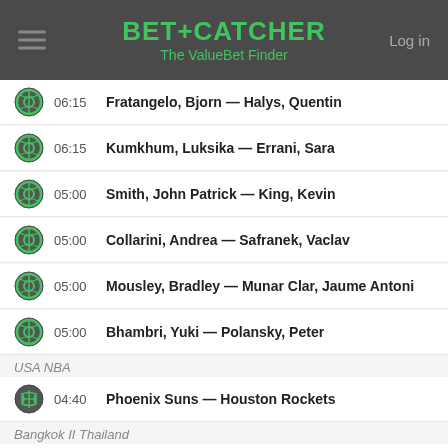BET+CATCHER The ValueBet Finder
06:15 Fratangelo, Bjorn — Halys, Quentin
06:15 Kumkhum, Luksika — Errani, Sara
05:00 Smith, John Patrick — King, Kevin
05:00 Collarini, Andrea — Safranek, Vaclav
05:00 Mousley, Bradley — Munar Clar, Jaume Antoni
05:00 Bhambri, Yuki — Polansky, Peter
USA NBA
04:40 Phoenix Suns — Houston Rockets
Bangkok II Thailand
04:00 Moraing, Mats — Lopez Perez, Enrique
USA NBA
03:10 Denver Nuggets — Memphis Grizzlies